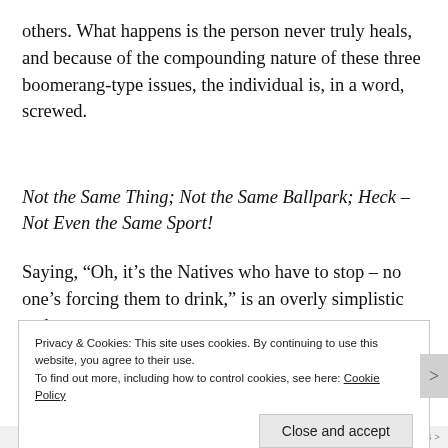others. What happens is the person never truly heals, and because of the compounding nature of these three boomerang-type issues, the individual is, in a word, screwed.
Not the Same Thing; Not the Same Ballpark; Heck – Not Even the Same Sport!
Saying, “Oh, it’s the Natives who have to stop – no one’s forcing them to drink,” is an overly simplistic and
Privacy & Cookies: This site uses cookies. By continuing to use this website, you agree to their use.
To find out more, including how to control cookies, see here: Cookie Policy

Close and accept